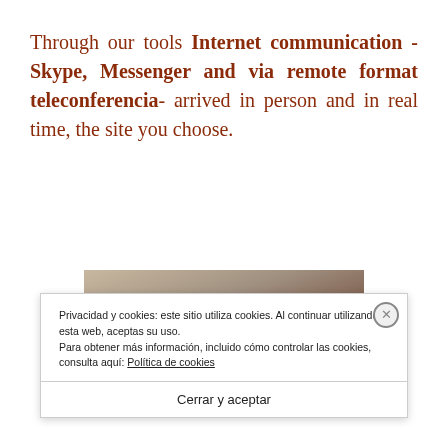Through our tools Internet communication - Skype, Messenger and via remote format teleconferencia- arrived in person and in real time, the site you choose.
[Figure (photo): Partial photo of an indoor scene, partially obscured by a cookie consent banner]
Privacidad y cookies: este sitio utiliza cookies. Al continuar utilizando esta web, aceptas su uso.
Para obtener más información, incluido cómo controlar las cookies, consulta aquí: Política de cookies
Cerrar y aceptar